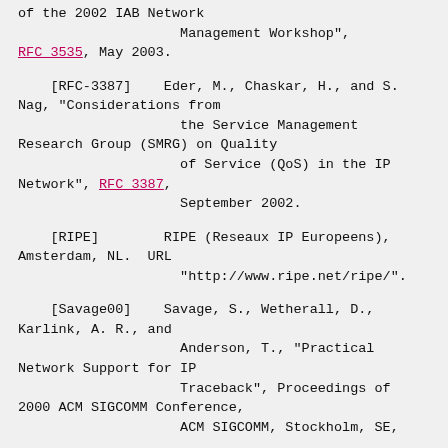of the 2002 IAB Network Management Workshop", RFC 3535, May 2003.
[RFC-3387]    Eder, M., Chaskar, H., and S. Nag, "Considerations from the Service Management Research Group (SMRG) on Quality of Service (QoS) in the IP Network", RFC 3387, September 2002.
[RIPE]        RIPE (Reseaux IP Europeens), Amsterdam, NL.  URL "http://www.ripe.net/ripe/".
[Savage00]    Savage, S., Wetherall, D., Karlink, A. R., and Anderson, T., "Practical Network Support for IP Traceback", Proceedings of 2000 ACM SIGCOMM Conference, ACM SIGCOMM, Stockholm, SE,